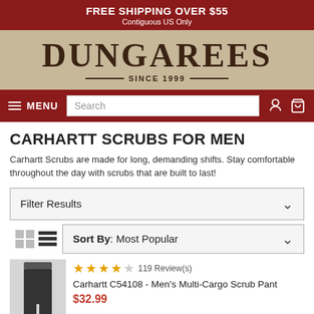FREE SHIPPING OVER $55 – Contiguous US Only
[Figure (logo): Dungarees Since 1999 logo on beige/tan background]
MENU | Search | Account | Cart
CARHARTT SCRUBS FOR MEN
Carhartt Scrubs are made for long, demanding shifts. Stay comfortable throughout the day with scrubs that are built to last!
Filter Results
Sort By: Most Popular
★★★★☆ 119 Review(s)
Carhartt C54108 - Men's Multi-Cargo Scrub Pant
$32.99